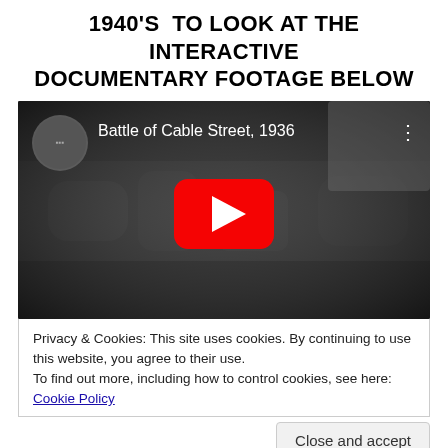1940'S  TO LOOK AT THE INTERACTIVE DOCUMENTARY FOOTAGE BELOW
[Figure (screenshot): YouTube video thumbnail for 'Battle of Cable Street, 1936' — black and white crowd footage with red YouTube play button in center, YouTube logo and video title in top left, three-dot menu in top right]
Privacy & Cookies: This site uses cookies. By continuing to use this website, you agree to their use.
To find out more, including how to control cookies, see here: Cookie Policy
Close and accept
[Figure (photo): Partial view of a Union Jack / British flag at the bottom of the page]